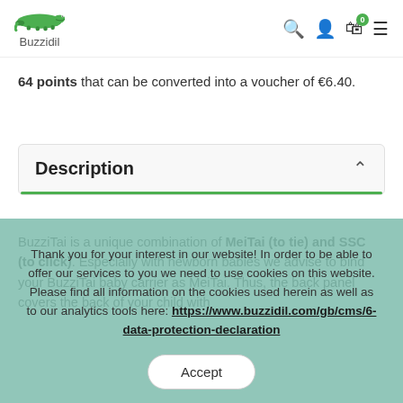Buzzidil — navigation bar with logo, search, user, cart (0), menu icons
64 points that can be converted into a voucher of €6.40.
Description
BuzziTai is a unique combination of MeiTai (to tie) and SSC (to click). Especially with newborn babies we advise to bind your BuzziTai baby carrier as MeiTai. Thus, the back panel covers the back of your child with
Thank you for your interest in our website! In order to be able to offer our services to you we need to use cookies on this website. Please find all information on the cookies used herein as well as to our analytics tools here: https://www.buzzidil.com/gb/cms/6-data-protection-declaration